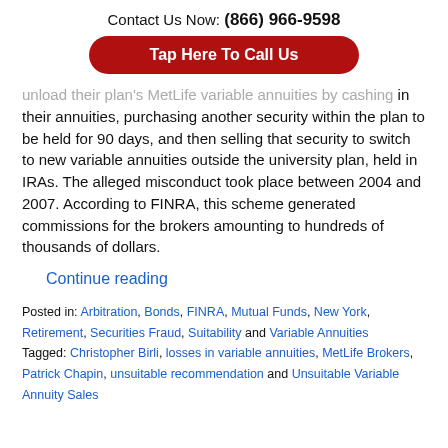Contact Us Now: (866) 966-9598
Tap Here To Call Us
unload their plan's MetLife variable annuities by cashing in their annuities, purchasing another security within the plan to be held for 90 days, and then selling that security to switch to new variable annuities outside the university plan, held in IRAs. The alleged misconduct took place between 2004 and 2007. According to FINRA, this scheme generated commissions for the brokers amounting to hundreds of thousands of dollars.
Continue reading
Posted in: Arbitration, Bonds, FINRA, Mutual Funds, New York, Retirement, Securities Fraud, Suitability and Variable Annuities Tagged: Christopher Birli, losses in variable annuities, MetLife Brokers, Patrick Chapin, unsuitable recommendation and Unsuitable Variable Annuity Sales